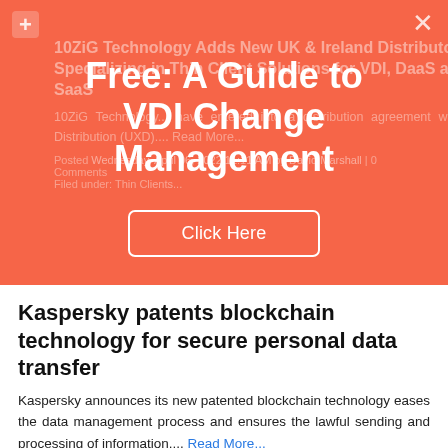[Figure (screenshot): Coral/orange modal overlay on a website with title 'Free: A Guide to VDI Change Management' and a 'Click Here' button. A plus icon appears top-left and an X close icon top-right.]
Free: A Guide to VDI Change Management
Kaspersky patents blockchain technology for secure personal data transfer
Kaspersky announces its new patented blockchain technology eases the data management process and ensures the lawful sending and processing of information.... Read More...
Posted Wednesday, April 06, 2022 10:40 AM by David Marshall | 0 Comments
Filed under: Patent, Blockchain
Utimaco and Nokia expand partnership to secure a 5G future